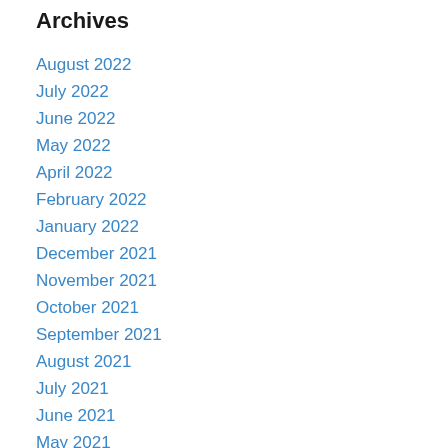Archives
August 2022
July 2022
June 2022
May 2022
April 2022
February 2022
January 2022
December 2021
November 2021
October 2021
September 2021
August 2021
July 2021
June 2021
May 2021
April 2021
March 2021
February 2021
January 2021